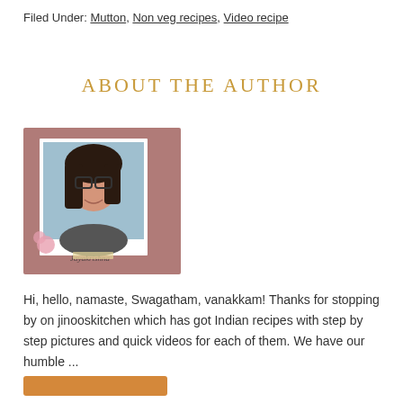Filed Under: Mutton, Non veg recipes, Video recipe
ABOUT THE AUTHOR
[Figure (photo): Author photo in a polaroid-style frame on a mauve/dusty rose background, showing a woman with glasses and dark hair, with a signature 'Jayakrishna' overlaid]
Hi, hello, namaste, Swagatham, vanakkam! Thanks for stopping by on jinooskitchen which has got Indian recipes with step by step pictures and quick videos for each of them. We have our humble ...